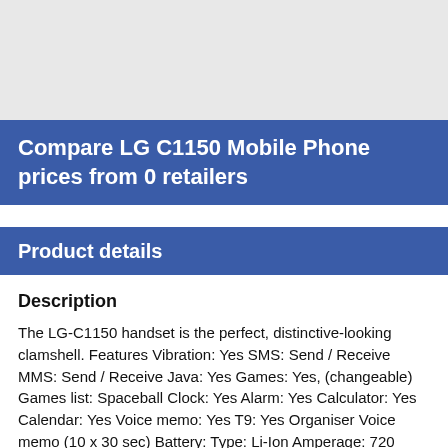Compare LG C1150 Mobile Phone prices from 0 retailers
Product details
Description
The LG-C1150 handset is the perfect, distinctive-looking clamshell. Features Vibration: Yes SMS: Send / Receive MMS: Send / Receive Java: Yes Games: Yes, (changeable) Games list: Spaceball Clock: Yes Alarm: Yes Calculator: Yes Calendar: Yes Voice memo: Yes T9: Yes Organiser Voice memo (10 x 30 sec) Battery: Type: Li-Ion Amperage: 720